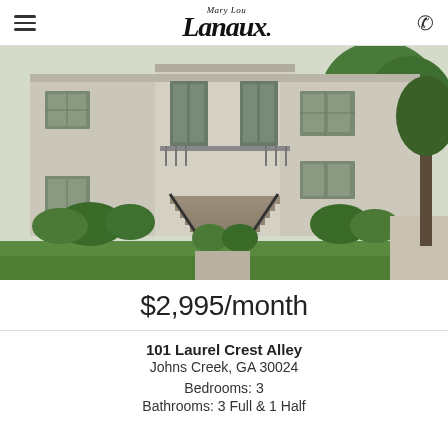Mary Lou Lanaux (logo)
[Figure (photo): Exterior photo of a two-story brick/stucco townhouse or condo building with entry stairs, black iron railings, windows, and landscaped green lawn with shrubs and trees]
$2,995/month
101 Laurel Crest Alley
Johns Creek, GA 30024
Bedrooms: 3
Bathrooms: 3 Full & 1 Half